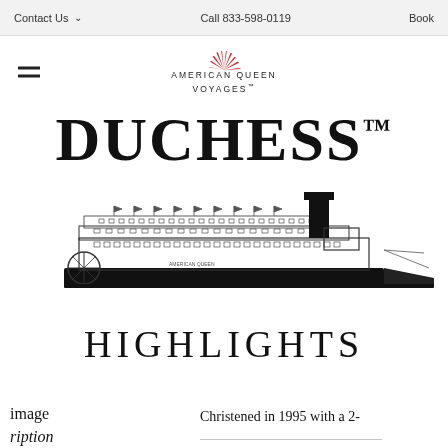Contact Us  ∨     Call 833-598-0119     Book
[Figure (logo): American Queen Voyages logo with red sunburst icon above text reading AMERICAN QUEEN VOYAGES]
DUCHESS™
[Figure (illustration): Black and white side-view line illustration of the American Queen riverboat steamship, showing multiple decks, flags, paddle wheel on the left, and a large smokestack]
HIGHLIGHTS
image
ription
Christened in 1995 with a 2-